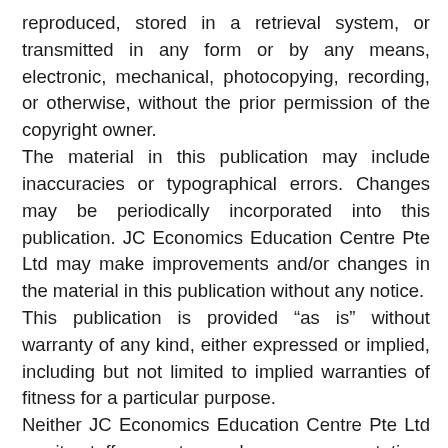reproduced, stored in a retrieval system, or transmitted in any form or by any means, electronic, mechanical, photocopying, recording, or otherwise, without the prior permission of the copyright owner.
The material in this publication may include inaccuracies or typographical errors. Changes may be periodically incorporated into this publication. JC Economics Education Centre Pte Ltd may make improvements and/or changes in the material in this publication without any notice.
This publication is provided “as is” without warranty of any kind, either expressed or implied, including but not limited to implied warranties of fitness for a particular purpose.
Neither JC Economics Education Centre Pte Ltd nor its staff warrant or make any representations regarding the use or the results of or from use of the materials or information in this publication, or the accuracy, adequacy, completeness, legality, reliability, or usefulness of the material in this